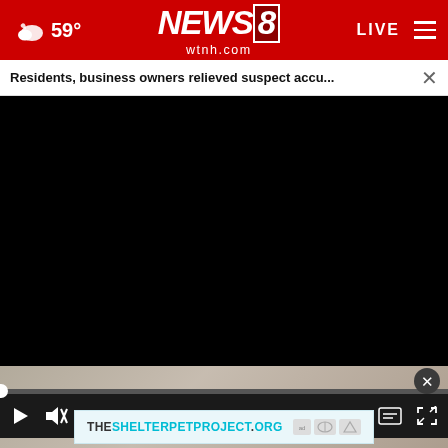59° NEWS 8 wtnh.com LIVE
Residents, business owners relieved suspect accu...
[Figure (screenshot): Black video player area with progress bar and playback controls showing 00:00]
Smart Consumer Update
[Figure (photo): Advertisement overlay on photo background with THESHELTERPETPROJECT.ORG banner and ad council logos]